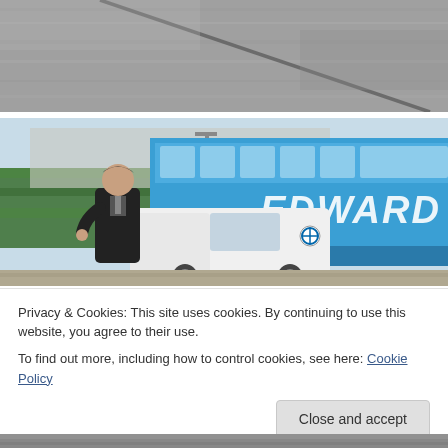[Figure (photo): Close-up of grey tarmac/road surface with a shadow line across it]
[Figure (photo): Man in black suit opening door of white BMW car, with a blue Edwards coach bus in the background]
Privacy & Cookies: This site uses cookies. By continuing to use this website, you agree to their use.
To find out more, including how to control cookies, see here: Cookie Policy
Close and accept